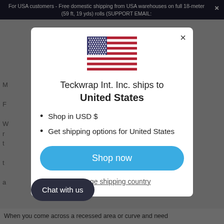For USA customers - Free domestic shipping from USA warehouses on full 18-meter (59 ft, 19 yds) rolls (SUPPORT EMAIL:
[Figure (illustration): US flag SVG illustration centered in modal]
Teckwrap Int. Inc. ships to United States
Shop in USD $
Get shipping options for United States
Shop now
Change shipping country
Chat with us
When you come across a recessed area or curve and need